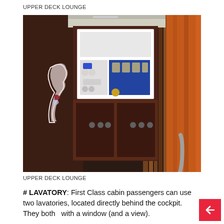UPPER DECK LOUNGE
[Figure (photo): Interior photo of an aircraft upper deck lounge area showing a galley/lavatory corridor. A dark wood-paneled galley unit with illuminated service panel, control buttons, and cups is visible in the center. A Qantas kangaroo logo is on the left dark wall panel. Orange curtained partitions are on the right. Metallic handrail visible at bottom right.]
UPPER DECK LOUNGE
# LAVATORY: First Class cabin passengers can use two lavatories, located directly behind the cockpit. They both come with a window (and a view).